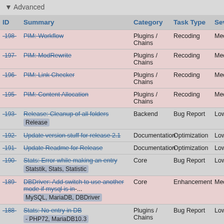▼ Advanced
| ID | Summary | Category | Task Type | Severity |
| --- | --- | --- | --- | --- |
| -198- | -PIM: Workflow- | Plugins / Chains | Recoding | Medium |
| -197- | -PIM: ModRewrite- | Plugins / Chains | Recoding | Medium |
| -196- | -PIM: Link Checker- | Plugins / Chains | Recoding | Medium |
| -195- | -PIM: Content Allocation- | Plugins / Chains | Recoding | Medium |
| -193- | -Release: Cleanup of all folders- Release | Backend | Bug Report | Low |
| -192- | -Update version stuff for release 2.1- | Documentation | Optimization | Low |
| -191- | -Update Readme for Release- | Documentation | Optimization | Low |
| -190- | -Stats: Error while making an entry- Statstik, Stats, Statistic | Core | Bug Report | Low |
| -189- | -DBDriver: Add switch to use another mode if mysql is in-... MySQL, MariaDB, DBDriver | Core | Enhancement | Medium |
| -188- | -Stats: No entry in DB- PHP72, MariaDB10.3 | Plugins / Chains | Bug Report | Low |